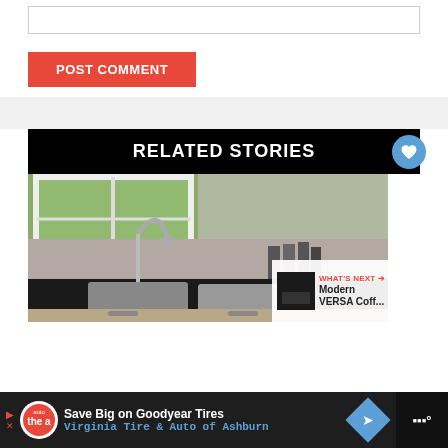[Figure (screenshot): Text input box (comment box)]
POST COMMENT
RELATED STORIES
[Figure (photo): Kitchen sink with marble countertop and backsplash, window view of grass outside]
WHAT'S NEXT → Modern VERSA Coff...
Save Big on Goodyear Tires Virginia Tire & Auto of Ashburn